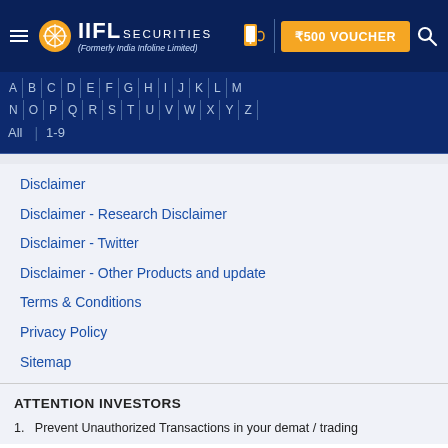IIFL SECURITIES (Formerly India Infoline Limited) | ₹500 VOUCHER
[Figure (screenshot): IIFL Securities website navigation bar with alphabet index A-Z, All, 1-9]
Disclaimer
Disclaimer - Research Disclaimer
Disclaimer - Twitter
Disclaimer - Other Products and update
Terms & Conditions
Privacy Policy
Sitemap
ATTENTION INVESTORS
1.   Prevent Unauthorized Transactions in your demat / trading